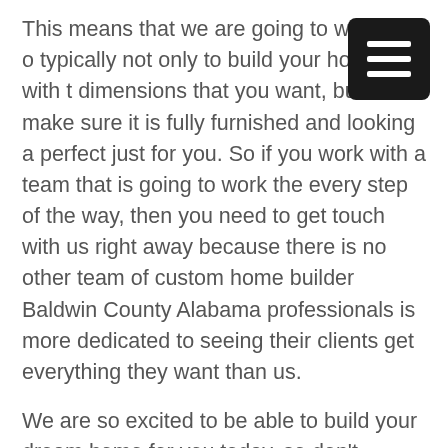This means that we are going to work the o typically not only to build your house with t dimensions that you want, but also make sure it is fully furnished and looking a perfect just for you. So if you work with a team that is going to work the every step of the way, then you need to get touch with us right away because there is no other team of custom home builder Baldwin County Alabama professionals is more dedicated to seeing their clients get everything they want than us.
We are so excited to be able to build your dream home for you today, so don’t hesitate to give us a call at 251-747-3801 so we can start you on that process. We also highly